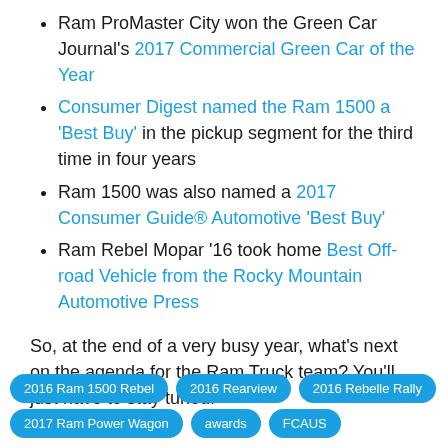Ram ProMaster City won the Green Car Journal's 2017 Commercial Green Car of the Year
Consumer Digest named the Ram 1500 a 'Best Buy' in the pickup segment for the third time in four years
Ram 1500 was also named a 2017 Consumer Guide® Automotive 'Best Buy'
Ram Rebel Mopar '16 took home Best Off-road Vehicle from the Rocky Mountain Automotive Press
So, at the end of a very busy year, what's next on the agenda for the Ram Truck team? You'll just have to stay tuned!
2016 Ram 1500 Rebel | 2016 Rearview | 2016 Rebelle Rally | 2017 Ram Power Wagon | awards | FCAUS